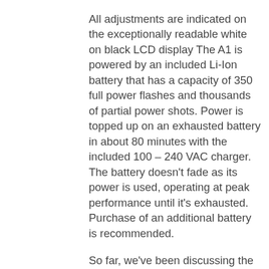All adjustments are indicated on the exceptionally readable white on black LCD display The A1 is powered by an included Li-Ion battery that has a capacity of 350 full power flashes and thousands of partial power shots. Power is topped up on an exhausted battery in about 80 minutes with the included 100 – 240 VAC charger. The battery doesn't fade as its power is used, operating at peak performance until it's exhausted. Purchase of an additional battery is recommended.

So far, we've been discussing the A1 used on-camera but when used off-camera it really earns its name as a "Studio Light." The flash has a built-in transceiver that allows it to be used with other A1s, B2s or D2, B1 and B1X monolights. All the Air Remote wireless controllers can trigger the A1 while those with a TTL and the